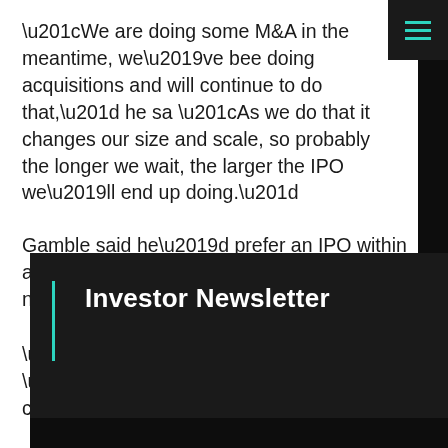“We are doing some M&A in the meantime, we’ve been doing acquisitions and will continue to do that,” he said. “As we do that it changes our size and scale, so probably the longer we wait, the larger the IPO we’ll end up doing.”
Gamble said he’d prefer an IPO within a C$100 million ($72 million) range, though nothing has been decided.
“Bigger is better,” he said. “It’s hard to be a micro public company.”
Investor Newsletter